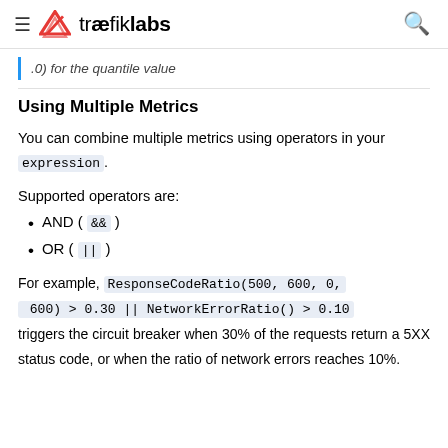≡ træfiklabs 🔍
.0) for the quantile value
Using Multiple Metrics
You can combine multiple metrics using operators in your expression.
Supported operators are:
AND ( && )
OR ( || )
For example, ResponseCodeRatio(500, 600, 0, 600) > 0.30 || NetworkErrorRatio() > 0.10 triggers the circuit breaker when 30% of the requests return a 5XX status code, or when the ratio of network errors reaches 10%.